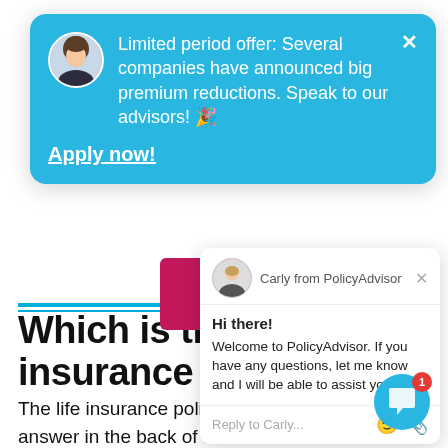[Figure (screenshot): Insurance website screenshot showing a blue notification popup with advisor avatar, text about limited period offer for premium reductions, and a chat widget with Carly from PolicyAdvisor. Background shows article title and text about life insurance.]
Limited period offer: Several companies have announced big premium reductions. Speak to our advisors! 🎉
Apply now!
Carly from PolicyAdvisor
Hi there!
Welcome to PolicyAdvisor. If you have any questions, let me know and I will be able to assist you.
Reply to Carly...
Which is the best life insurance
The life insurance policy you should choose isn't answer in the back of the book. Life insurance deeply personal purchase and there are a lot of